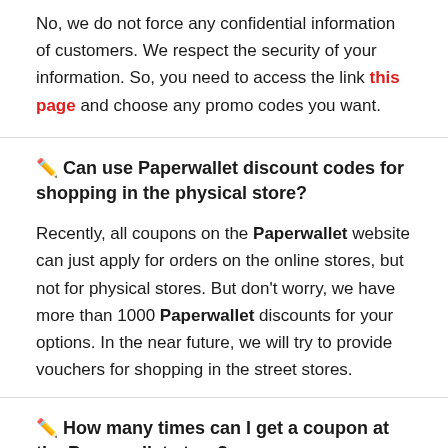No, we do not force any confidential information of customers. We respect the security of your information. So, you need to access the link this page and choose any promo codes you want.
✏️ Can use Paperwallet discount codes for shopping in the physical store?
Recently, all coupons on the Paperwallet website can just apply for orders on the online stores, but not for physical stores. But don't worry, we have more than 1000 Paperwallet discounts for your options. In the near future, we will try to provide vouchers for shopping in the street stores.
✏️ How many times can I get a coupon at the Paperwallet store?